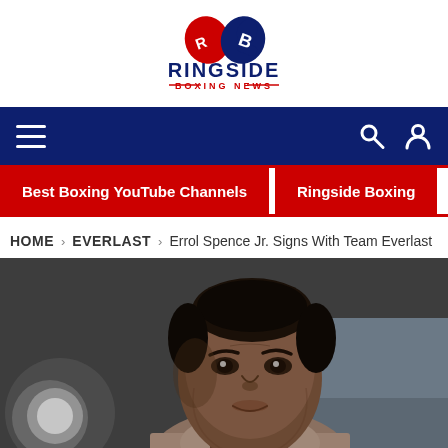RINGSIDE BOXING NEWS
HOME > EVERLAST > Errol Spence Jr. Signs With Team Everlast
Best Boxing YouTube Channels | Ringside Boxing
[Figure (photo): Close-up photo of Errol Spence Jr., a Black male boxer with short hair, looking intensely at the camera. He is wearing a light brown/tan shirt. The background is blurred with a bokeh effect.]